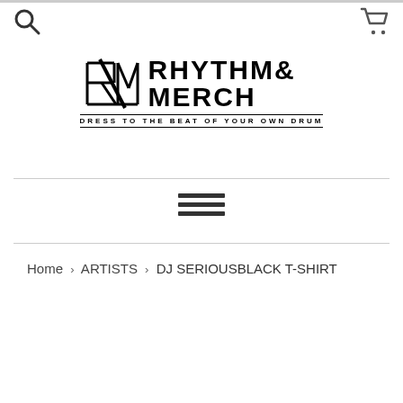Rhythm & Merch — navigation header with search and cart icons
[Figure (logo): Rhythm & Merch logo with stylized RM lettermark and tagline DRESS TO THE BEAT OF YOUR OWN DRUM]
[Figure (other): Hamburger menu icon (three horizontal lines)]
Home > ARTISTS > DJ SERIOUSBLACK T-SHIRT